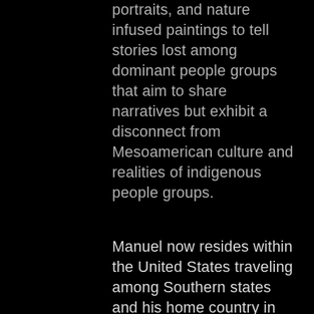portraits, and nature infused paintings to tell stories lost among dominant people groups that aim to share narratives but exhibit a disconnect from Mesoamerican culture and realities of indigenous people groups.
Manuel now resides within the United States traveling among Southern states and his home country in between his MFA pursuit at the New York Academy of Art. Like many self taught artists his innate talent was met with a desire to expand, explore, and immerse his abilities into further development, which includes continuing to remain connected to his most resounding and first teacher, his native land.